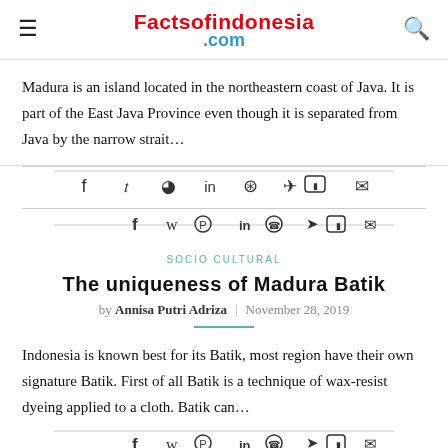Factsofindonesia.com
Madura is an island located in the northeastern coast of Java. It is part of the East Java Province even though it is separated from Java by the narrow strait…
[Figure (other): Social share icons bar: Facebook, Twitter, Pinterest, LinkedIn, WhatsApp, Telegram, Line, Email]
SOCIO CULTURAL
The uniqueness of Madura Batik
by Annisa Putri Adriza | November 28, 2019
Indonesia is known best for its Batik, most region have their own signature Batik. First of all Batik is a technique of wax-resist dyeing applied to a cloth. Batik can…
[Figure (other): Social share icons bar: Facebook, Twitter, Pinterest, LinkedIn, WhatsApp, Telegram, Line, Email]